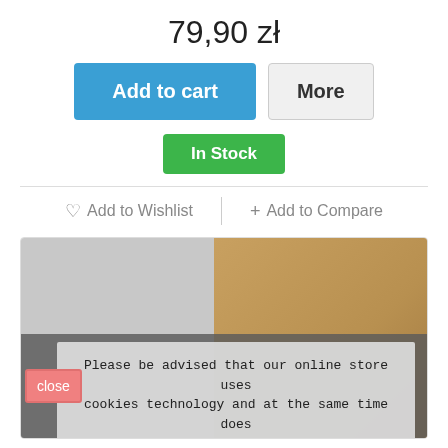79,90 zł
Add to cart
More
In Stock
♡ Add to Wishlist
+ Add to Compare
[Figure (photo): Product photo showing a wooden bowl or plate, half in pale gray light and half showing natural wood grain texture. A cookie consent overlay covers the lower portion.]
Please be advised that our online store uses cookies technology and at the same time does not automatically collect any information, except for the information contained in these files (so-called "cookies").
close